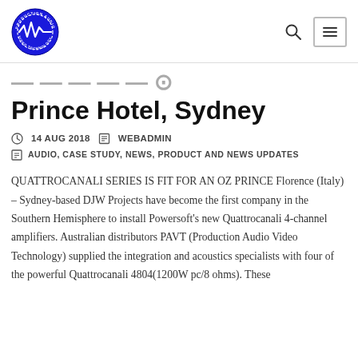Production Audio Video Technology logo
Prince Hotel, Sydney
14 AUG 2018  WEBADMIN
AUDIO, CASE STUDY, NEWS, PRODUCT AND NEWS UPDATES
QUATTROCANALI SERIES IS FIT FOR AN OZ PRINCE Florence (Italy) – Sydney-based DJW Projects have become the first company in the Southern Hemisphere to install Powersoft's new Quattrocanali 4-channel amplifiers. Australian distributors PAVT (Production Audio Video Technology) supplied the integration and acoustics specialists with four of the powerful Quattrocanali 4804(1200W pc/8 ohms). These